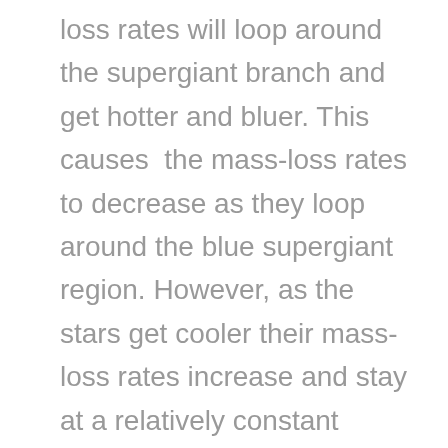loss rates will loop around the supergiant branch and get hotter and bluer. This causes the mass-loss rates to decrease as they loop around the blue supergiant region. However, as the stars get cooler their mass-loss rates increase and stay at a relatively constant value when they become yellow supergiants. Furthermore, the author also finds that the final stellar masses of the models with the increased mass loss